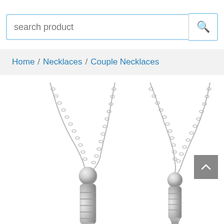[Figure (screenshot): Search bar with placeholder text 'search product' and a magnifying glass button on the right]
Home / Necklaces / Couple Necklaces
[Figure (photo): Two silver bullet-shaped pendant necklaces on chains, shown close up against a white background]